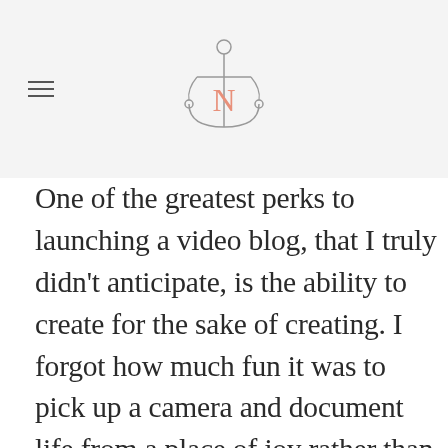Navigation header with hamburger menu and anchor logo
One of the greatest perks to launching a video blog, that I truly didn't anticipate, is the ability to create for the sake of creating. I forgot how much fun it was to pick up a camera and document life from a place of joy rather than professional obligation. The only “client” is your audience and you have complete creative freedom to do as you see fit. It’s